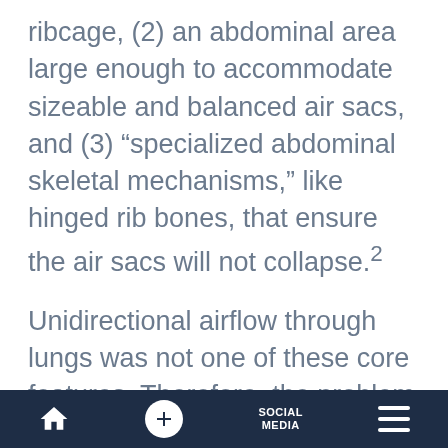ribcage, (2) an abdominal area large enough to accommodate sizeable and balanced air sacs, and (3) “specialized abdominal skeletal mechanisms,” like hinged rib bones, that ensure the air sacs will not collapse.²
Unidirectional airflow through lungs was not one of these core features. Therefore, the problem of how evolution could have built up these basic avian breathing characteristics incrementally remains unsolved.
Home | + | SOCIAL MEDIA | Menu